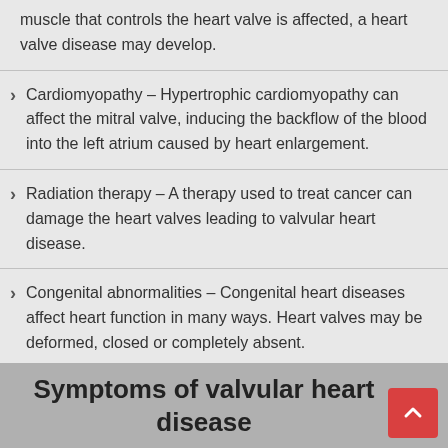muscle that controls the heart valve is affected, a heart valve disease may develop.
Cardiomyopathy – Hypertrophic cardiomyopathy can affect the mitral valve, inducing the backflow of the blood into the left atrium caused by heart enlargement.
Radiation therapy – A therapy used to treat cancer can damage the heart valves leading to valvular heart disease.
Congenital abnormalities – Congenital heart diseases affect heart function in many ways. Heart valves may be deformed, closed or completely absent.
Symptoms of valvular heart disease